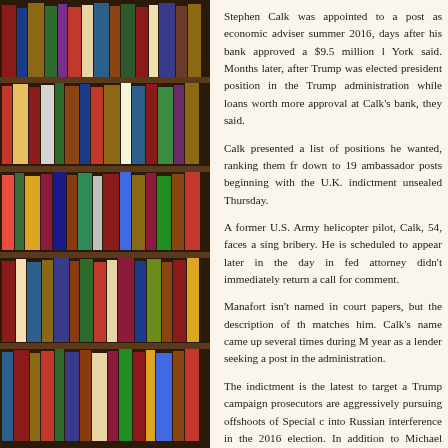[Figure (photo): Photograph of a bookshelf filled with books of various colors (red, blue, green, yellow, white, etc.) arranged vertically on multiple shelves.]
Stephen Calk was appointed to a post as economic adviser summer 2016, days after his bank approved a $9.5 million l York said. Months later, after Trump was elected president position in the Trump administration while loans worth more approval at Calk's bank, they said.
Calk presented a list of positions he wanted, ranking them fr down to 19 ambassador posts beginning with the U.K. indictment unsealed Thursday.
A former U.S. Army helicopter pilot, Calk, 54, faces a sing bribery. He is scheduled to appear later in the day in fed attorney didn't immediately return a call for comment.
Manafort isn't named in court papers, but the description of th matches him. Calk's name came up several times during M year as a lender seeking a post in the administration.
The indictment is the latest to target a Trump campaign prosecutors are aggressively pursuing offshoots of Special c into Russian interference in the 2016 election. In addition to Michael Cohen and Michael Flynn have been convicted of fed
The indictment also shows prosecutors have examined acti About three weeks after Trump's election, Manafort sent Cal transition official, who forwarded it to three other tra recommendation to consider Calk, according to the indictmen
Prosecutors say that Calk abused his positions as head of h provide loans to Manafort, who Calk understood needed the